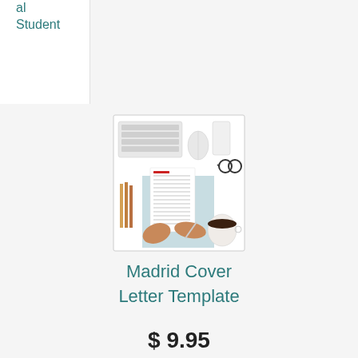Professional Student
[Figure (photo): Overhead photo of hands writing on a cover letter document on a light blue desk with keyboard, mouse, phone, glasses, pencils, and a coffee cup]
Madrid Cover Letter Template
$ 9.95